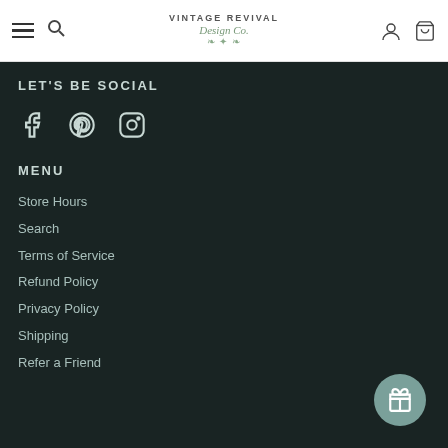Vintage Revival Design Co. — Navigation header with hamburger, search, account, and cart icons
LET'S BE SOCIAL
[Figure (infographic): Social media icons: Facebook, Pinterest, Instagram]
MENU
Store Hours
Search
Terms of Service
Refund Policy
Privacy Policy
Shipping
Refer a Friend